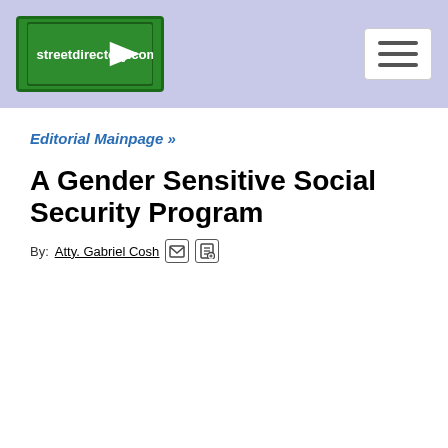streetdirectory.com
Editorial Mainpage »
A Gender Sensitive Social Security Program
By: Atty. Gabriel Cosh